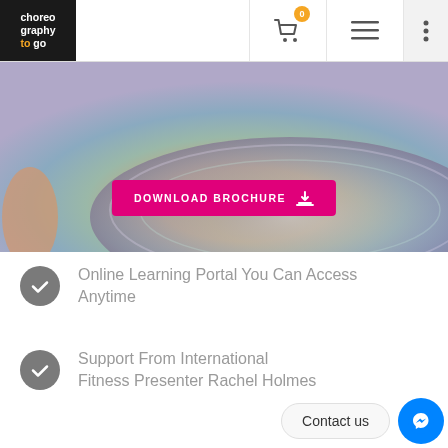Choreography To Go - header navigation with logo, cart (0), menu, and more options
[Figure (photo): Hero banner image showing a colourful disc or yoga mat surface in warm tones with a pink 'Download Brochure' button overlay]
Online Learning Portal You Can Access Anytime
Support From International Fitness Presenter Rachel Holmes
Contact us